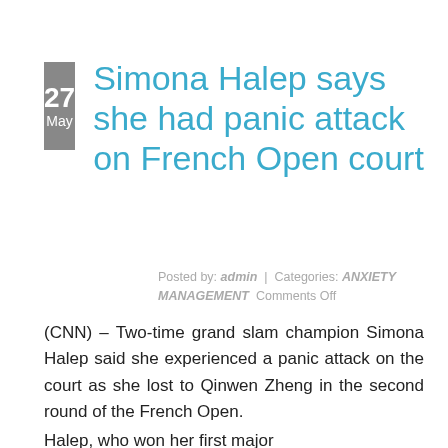Simona Halep says she had panic attack on French Open court
Posted by: admin  |  Categories: ANXIETY MANAGEMENT  Comments Off
(CNN) – Two-time grand slam champion Simona Halep said she experienced a panic attack on the court as she lost to Qinwen Zheng in the second round of the French Open.
Halep, who won her first major